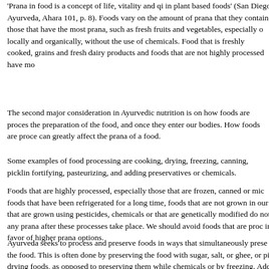'Prana in food is a concept of life, vitality and qi in plant based foods' (San Diego Ayurveda, Ahara 101, p. 8). Foods vary on the amount of prana that they contain, those that have the most prana, such as fresh fruits and vegetables, especially organically, without the use of chemicals. Food that is freshly cooked, grains and fresh dairy products and foods that are not highly processed have mo
The second major consideration in Ayurvedic nutrition is on how foods are processed, the preparation of the food, and once they enter our bodies. How foods are processed can greatly affect the prana of a food.
Some examples of food processing are cooking, drying, freezing, canning, pickling, fortifying, pasteurizing, and adding preservatives or chemicals.
Foods that are highly processed, especially those that are frozen, canned or microwaved, foods that have been refrigerated for a long time, foods that are not grown in our area, that are grown using pesticides, chemicals or that are genetically modified do not retain any prana after these processes take place. We should avoid foods that are processed in favor of higher prana options.
Ayurveda seeks to process and preserve foods in ways that simultaneously preserve the food. This is often done by preserving the food with sugar, salt, or ghee, or by drying foods, as opposed to preserving them while chemicals or by freezing. Additionally, seeking to maintain the prana of their foods should cook them over a woodstove or oven, as opposed to less natural cooking methods such as the use of microwave appliances.
Ayurveda seeks to view the foods we are eating, as well as our bodies, in their entirety determine what will most benefit our health and well being. Western nutrition may see that microwaved conventionally grown vegetables are healthy for us, based on it